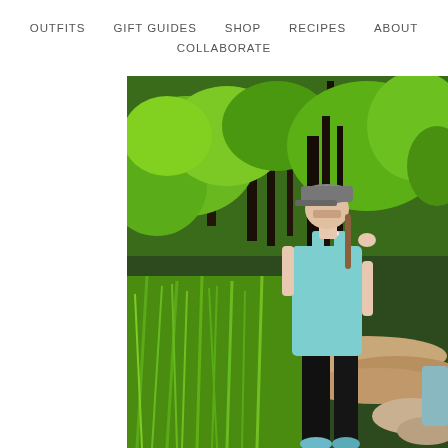OUTFITS   GIFT GUIDES   SHOP   RECIPES   ABOUT   COLLABORATE
[Figure (photo): A woman wearing a light blue tank top, black leggings, and a gray Nike cap stands on a rocky trail surrounded by lush green trees and tall grass in a natural outdoor setting.]